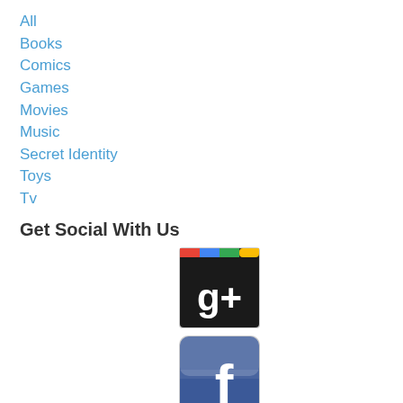All
Books
Comics
Games
Movies
Music
Secret Identity
Toys
Tv
Get Social With Us
[Figure (logo): Google+ social media icon — dark rounded square with colored bar (red, blue, green, yellow) at top and white g+ text]
[Figure (logo): Facebook social media icon — blue rounded square with white lowercase f]